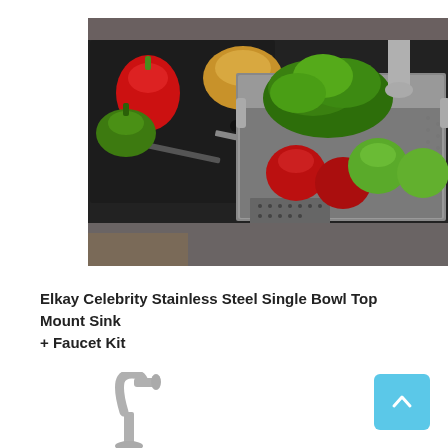[Figure (photo): Product photo of an Elkay kitchen sink with a dark cutting board on the left side (with red and green bell peppers, a bread roll, and a knife) and a stainless steel colander basket on the right side containing red and green apples and lettuce. A faucet is visible in the background. The sink is set in a dark granite countertop.]
Elkay Celebrity Stainless Steel Single Bowl Top Mount Sink + Faucet Kit
[Figure (photo): Small image of a chrome kitchen faucet with a gooseneck spout, partially visible at the bottom left of the page.]